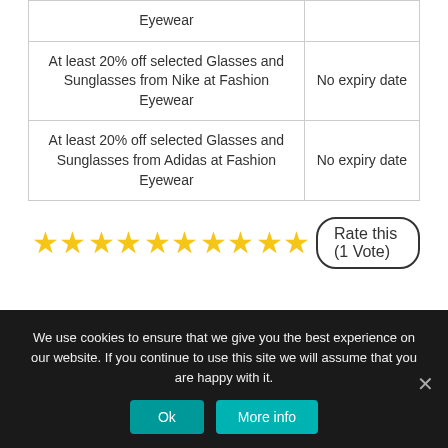| Deal | Expiry |
| --- | --- |
| Eyewear |  |
| At least 20% off selected Glasses and Sunglasses from Nike at Fashion Eyewear | No expiry date |
| At least 20% off selected Glasses and Sunglasses from Adidas at Fashion Eyewear | No expiry date |
★★★★★ Rate this (1 Vote)
We use cookies to ensure that we give you the best experience on our website. If you continue to use this site we will assume that you are happy with it.